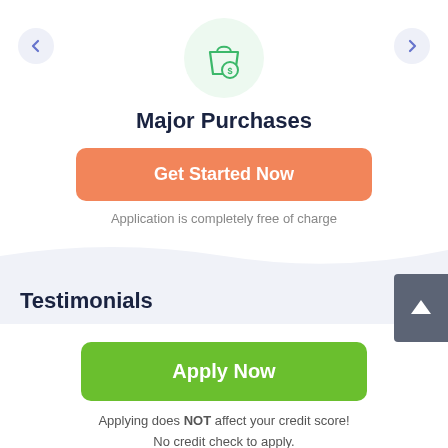[Figure (illustration): Shopping bag with dollar sign icon in a light green circle]
Major Purchases
Get Started Now
Application is completely free of charge
Testimonials
Apply Now
Applying does NOT affect your credit score! No credit check to apply.